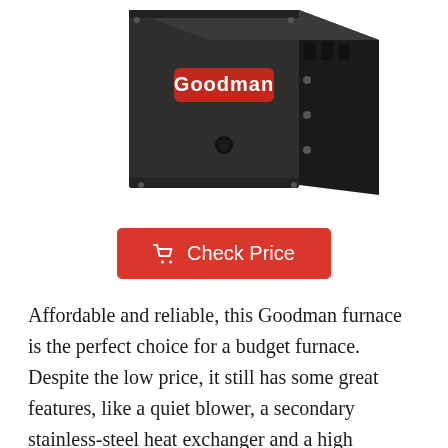[Figure (photo): A Goodman brand gas furnace unit, dark gray/black colored, with the Goodman logo on a red badge on the front panel. The unit is shown from a slightly angled perspective showing the front and right side.]
Check Price
Affordable and reliable, this Goodman furnace is the perfect choice for a budget furnace. Despite the low price, it still has some great features, like a quiet blower, a secondary stainless-steel heat exchanger and a high efficiency rating. However, this furnace only has 60,000 BTUs, and the blower is single speed. It's an